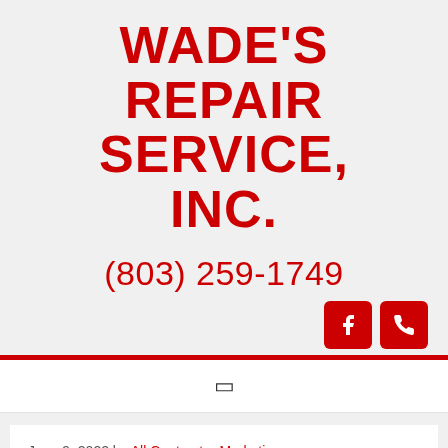WADE'S REPAIR SERVICE, INC.
(803) 259-1749
[Figure (other): Facebook icon button and phone icon button, both red with white icons]
[Figure (other): Navigation bar with a menu/hamburger icon]
June 9, 2022 by All Contractor Marketing
Conditio AC Compan...